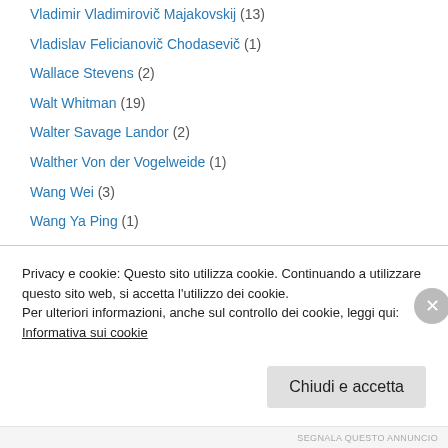Vladimir Vladimirovič Majakovskij (13)
Vladislav Felicianovič Chodasevič (1)
Wallace Stevens (2)
Walt Whitman (19)
Walter Savage Landor (2)
Walther Von der Vogelweide (1)
Wang Wei (3)
Wang Ya Ping (1)
Wei Li Bo (3)
Wendell Berry (1)
Wendy Cope (1)
Werner Aspenström (1)
Wilfred Owen (3)
Privacy e cookie: Questo sito utilizza cookie. Continuando a utilizzare questo sito web, si accetta l'utilizzo dei cookie.
Per ulteriori informazioni, anche sul controllo dei cookie, leggi qui:
Informativa sui cookie
SEGNALA QUESTO ANNUNCIO